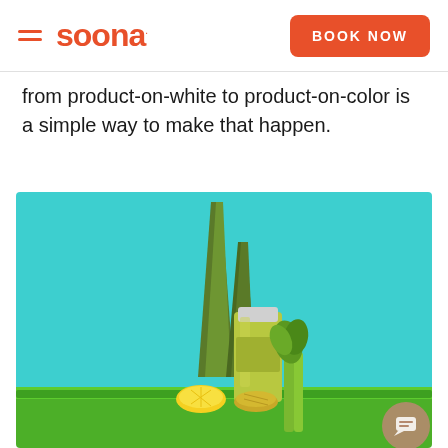soona — BOOK NOW
from product-on-white to product-on-color is a simple way to make that happen.
[Figure (photo): Product photography on teal/aqua background showing a green juice bottle surrounded by aloe vera leaves, celery stalks, a lemon half, and pineapple pieces on a grass surface.]